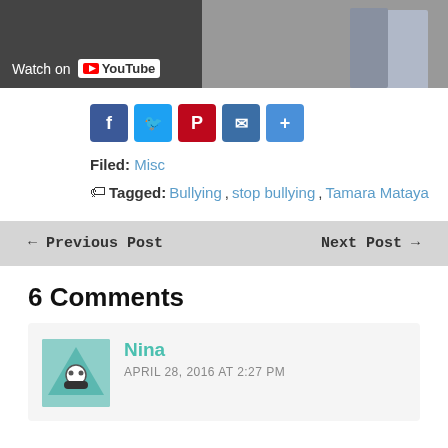[Figure (screenshot): YouTube video thumbnail showing two people, with 'Watch on YouTube' label in bottom left]
Facebook, Twitter, Pinterest, Email, Share buttons
Filed: Misc
Tagged: Bullying, stop bullying, Tamara Mataya
← Previous Post   Next Post →
6 Comments
Nina
APRIL 28, 2016 AT 2:27 PM